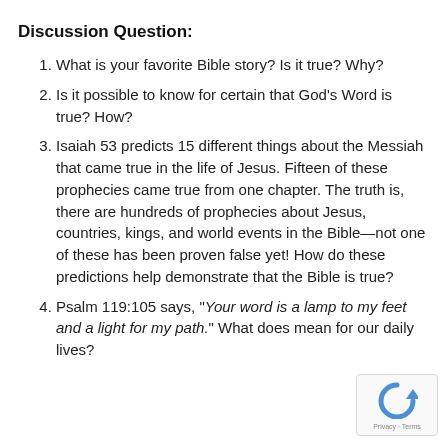Discussion Question:
What is your favorite Bible story? Is it true? Why?
Is it possible to know for certain that God’s Word is true? How?
Isaiah 53 predicts 15 different things about the Messiah that came true in the life of Jesus. Fifteen of these prophecies came true from one chapter. The truth is, there are hundreds of prophecies about Jesus, countries, kings, and world events in the Bible—not one of these has been proven false yet! How do these predictions help demonstrate that the Bible is true?
Psalm 119:105 says, “Your word is a lamp to my feet and a light for my path.” What does mean for our daily lives?
[Figure (logo): reCAPTCHA badge with circular arrow icon and Privacy - Terms text]